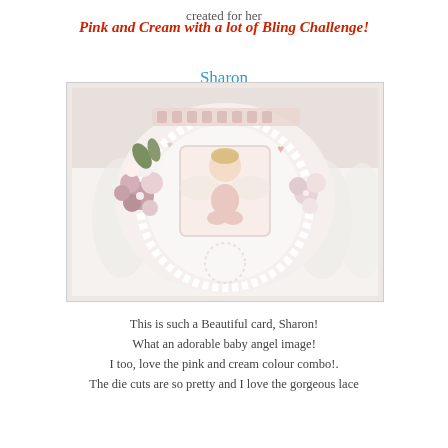created for her
Pink and Cream with a lot of Bling Challenge!
Sharon
[Figure (photo): A handmade craft card decorated with pink and white flowers, a baby angel image in the center, die cuts, and lace detailing on a white ruffled background.]
This is such a Beautiful card, Sharon! What an adorable baby angel image! I too, love the pink and cream colour combo!. The die cuts are so pretty and I love the gorgeous lace